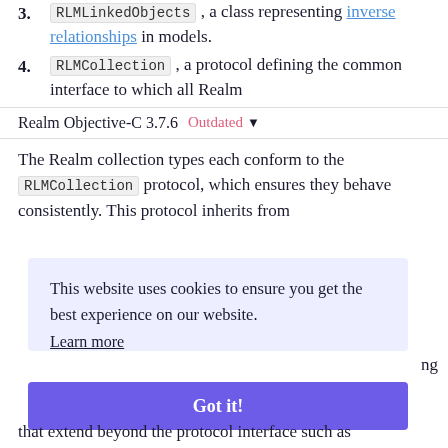3. RLMLinkedObjects , a class representing inverse relationships in models.
4. RLMCollection , a protocol defining the common interface to which all Realm
Realm Objective-C 3.7.6  Outdated
The Realm collection types each conform to the RLMCollection protocol, which ensures they behave consistently. This protocol inherits from
This website uses cookies to ensure you get the best experience on our website.
Learn more
ng
Got it!
that extend beyond the protocol interface such as